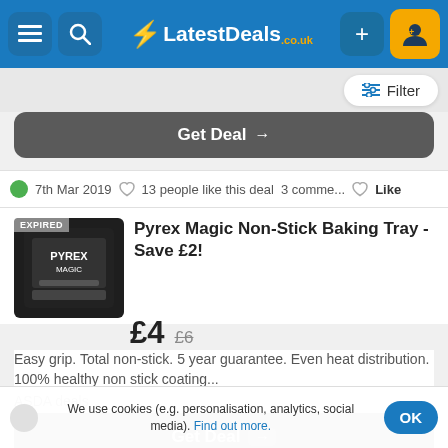LatestDeals.co.uk
Filter
Get Deal →
7th Mar 2019   13 people like this deal   3 comme...   Like
Pyrex Magic Non-Stick Baking Tray - Save £2!
£4  £6
Easy grip. Total non-stick. 5 year guarantee. Even heat distribution. 100% healthy non stick coating...
ASDA deals
Get Deal →
We use cookies (e.g. personalisation, analytics, social media). Find out more.